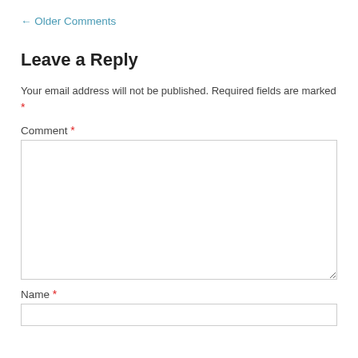← Older Comments
Leave a Reply
Your email address will not be published. Required fields are marked *
Comment *
Name *